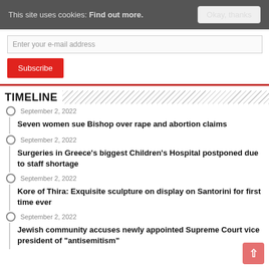This site uses cookies: Find out more.   Okay, thanks
Enter your e-mail address
Subscribe
TIMELINE
September 2, 2022
Seven women sue Bishop over rape and abortion claims
September 2, 2022
Surgeries in Greece's biggest Children's Hospital postponed due to staff shortage
September 2, 2022
Kore of Thira: Exquisite sculpture on display on Santorini for first time ever
September 2, 2022
Jewish community accuses newly appointed Supreme Court vice president of "antisemitism"